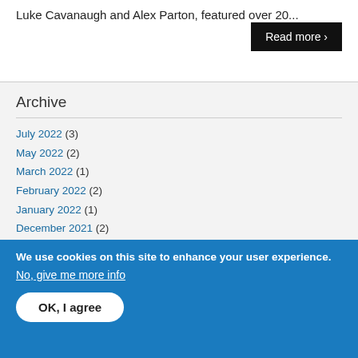Luke Cavanaugh and Alex Parton, featured over 20...
Read more ›
Archive
July 2022 (3)
May 2022 (2)
March 2022 (1)
February 2022 (2)
January 2022 (1)
December 2021 (2)
November 2021 (2)
October 2021 (3)
We use cookies on this site to enhance your user experience.
No, give me more info
OK, I agree